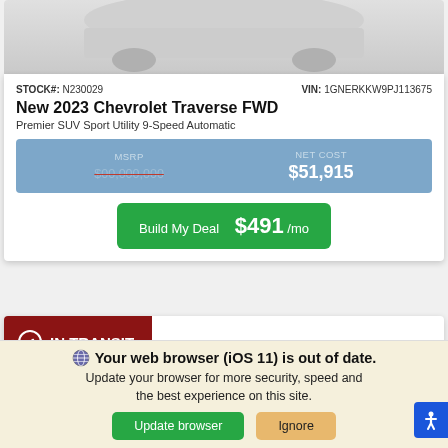[Figure (photo): Partial view of a white Chevrolet Traverse SUV, showing the rear/side area against a light gray background]
STOCK#: N230029
VIN: 1GNERKKW9PJ113675
New 2023 Chevrolet Traverse FWD
Premier SUV Sport Utility 9-Speed Automatic
MSRP [strikethrough price] | NET COST $51,915
Build My Deal  $491 /mo
✔ IN TRANSIT
Your web browser (iOS 11) is out of date. Update your browser for more security, speed and the best experience on this site.
Update browser  Ignore